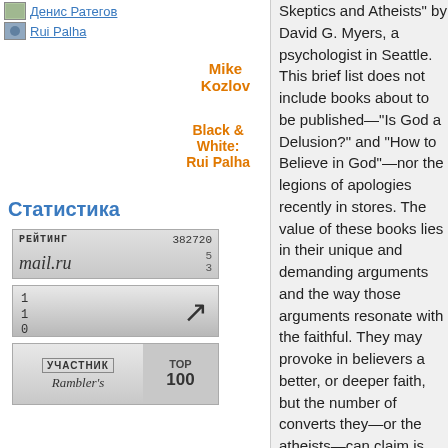Денис Ратегов
Rui Palha
Mike Kozlov
Black & White: Rui Palha
Статистика
[Figure (other): Mail.ru rating badge showing rating 382720 and number 5/3]
[Figure (other): Badge with numbers 1, 1, 0 and an arrow pointing upper-right]
[Figure (other): Rambler's Top 100 participant badge]
Skeptics and Atheists" by David G. Myers, a psychologist in Seattle. This brief list does not include books about to be published—"Is God a Delusion?" and "How to Believe in God"—nor the legions of apologies recently in stores. The value of these books lies in their unique and demanding arguments and the way those arguments resonate with the faithful. They may provoke in believers a better, or deeper faith, but the number of converts they—or the atheists—can claim is undoubtedly small.